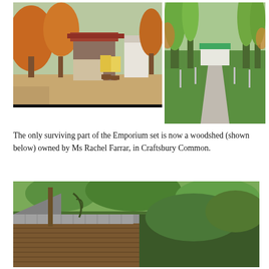[Figure (photo): Autumn scene of a rural store/emporium with orange-leaved trees, a small building with a porch, display boards outside, and a dirt road.]
[Figure (photo): Green summer scene of a gravel driveway lined with tall trees leading to a white building in the background.]
The only surviving part of the Emporium set is now a woodshed (shown below) owned by Ms Rachel Farrar, in Craftsbury Common.
[Figure (photo): Close-up photo of a weathered wooden woodshed with a metal roof, surrounded by trees.]